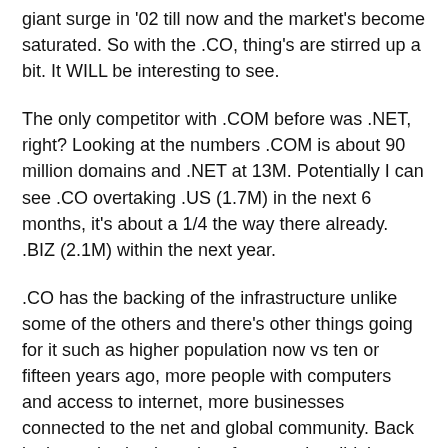giant surge in '02 till now and the market's become saturated. So with the .CO, thing's are stirred up a bit. It WILL be interesting to see.
The only competitor with .COM before was .NET, right? Looking at the numbers .COM is about 90 million domains and .NET at 13M. Potentially I can see .CO overtaking .US (1.7M) in the next 6 months, it's about a 1/4 the way there already. .BIZ (2.1M) within the next year.
.CO has the backing of the infrastructure unlike some of the others and there's other things going for it such as higher population now vs ten or fifteen years ago, more people with computers and access to internet, more businesses connected to the net and global community. Back in the early nineties a lot of companies didn't even get a domain. Remember Nissan? Completely missed the boat and they don't